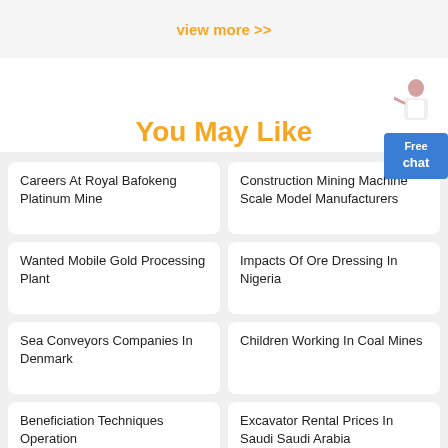view more >>
You May Like
Careers At Royal Bafokeng Platinum Mine
Construction Mining Machine Scale Model Manufacturers
Wanted Mobile Gold Processing Plant
Impacts Of Ore Dressing In Nigeria
Sea Conveyors Companies In Denmark
Children Working In Coal Mines
Beneficiation Techniques Operation
Excavator Rental Prices In Saudi Saudi Arabia